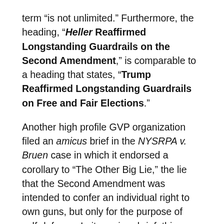term “is not unlimited.” Furthermore, the heading, “Heller Reaffirmed Longstanding Guardrails on the Second Amendment,” is comparable to a heading that states, “Trump Reaffirmed Longstanding Guardrails on Free and Fair Elections.”
Another high profile GVP organization filed an amicus brief in the NYSRPA v. Bruen case in which it endorsed a corollary to “The Other Big Lie,” the lie that the Second Amendment was intended to confer an individual right to own guns, but only for the purpose of self-defense. In its amicus brief, this organization wrote:
As Heller observed, self-defense is “the central component” and “core lawful purpose”